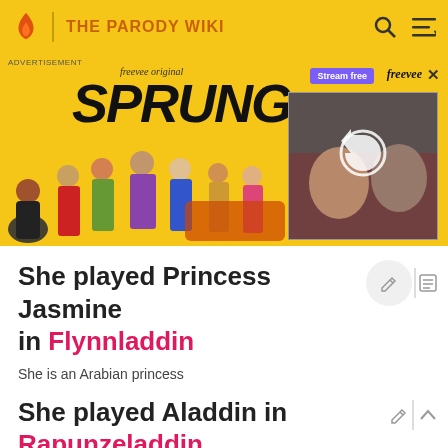THE PARODY WIKI
[Figure (screenshot): Advertisement banner for Freevee original show 'SPRUNG' with cast members and a video thumbnail on a yellow background]
She played Princess Jasmine in Flynnladdin
She is an Arabian princess
She played Aladdin in Rapunzeladdin
She is a "street mouse"